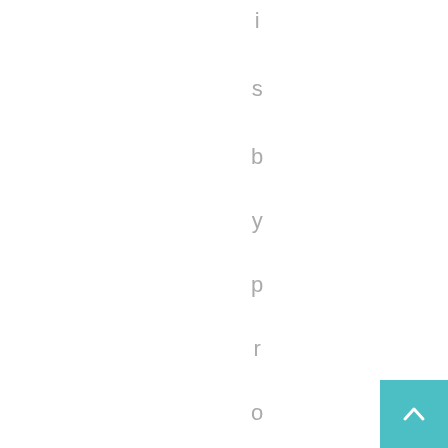is by providing smarts
[Figure (other): Teal/cyan scroll-to-top button with upward arrow chevron, positioned at bottom-right corner]